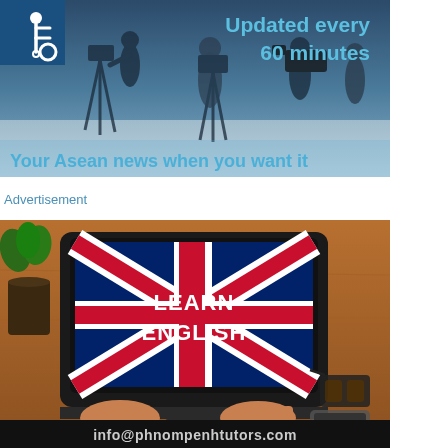[Figure (photo): News/media banner ad showing camera operators/journalists with text 'Updated every 60 minutes' and 'Your Asean news when you want it', with a wheelchair accessibility icon in top-left corner]
Advertisement
[Figure (photo): Advertisement showing a person typing on a laptop with a Union Jack (UK flag) displayed on screen with 'LEARN ENGLISH' text overlaid, with a plant and glasses visible, and 'info@phnompenhtutors.com' at the bottom]